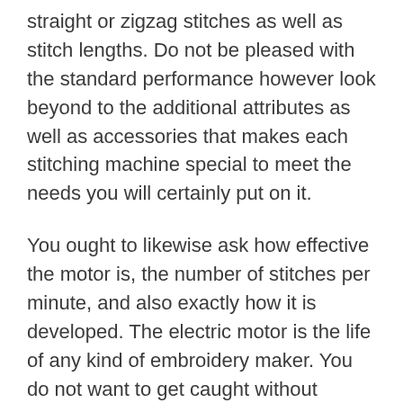straight or zigzag stitches as well as stitch lengths. Do not be pleased with the standard performance however look beyond to the additional attributes as well as accessories that makes each stitching machine special to meet the needs you will certainly put on it.
You ought to likewise ask how effective the motor is, the number of stitches per minute, and also exactly how it is developed. The electric motor is the life of any kind of embroidery maker. You do not want to get caught without enough power to complete your job.
Every stitching machine will have some plastic outside. However, if you are